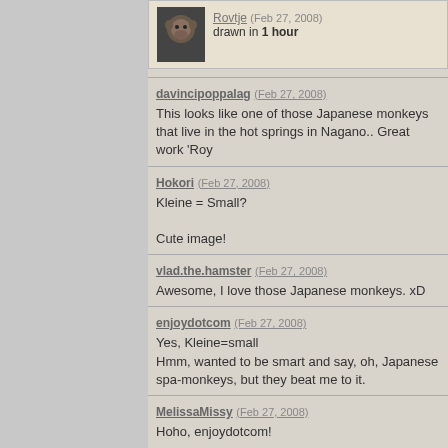[Figure (photo): Thumbnail image of a monkey, partially visible at top of page]
Rovtje (Feb 27, 2008) drawn in 1 hour
davincipoppalag (Feb 27, 2008)
This looks like one of those Japanese monkeys that live in the hot springs in Nagano.. Great work 'Roy
Hokori (Feb 27, 2008)
Kleine = Small?

Cute image!
vlad.the.hamster (Feb 27, 2008)
Awesome, I love those Japanese monkeys. xD
enjoydotcom (Feb 27, 2008)
Yes, Kleine=small
Hmm, wanted to be smart and say, oh, Japanese spa-monkeys, but they beat me to it.
MelissaMissy (Feb 27, 2008)
Hoho, enjoydotcom!